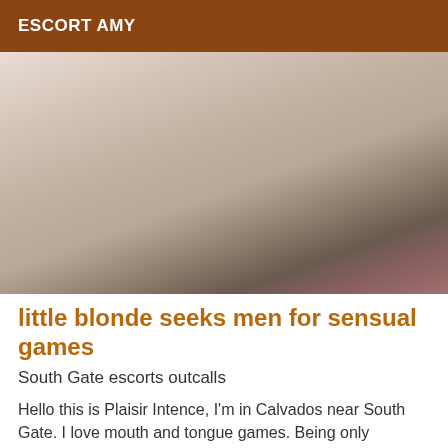ESCORT AMY
[Figure (photo): Close-up photo of a person wearing a pearl necklace, blurred intimate content]
little blonde seeks men for sensual games
South Gate escorts outcalls
Hello this is Plaisir Intence, I'm in Calvados near South Gate. I love mouth and tongue games. Being only occasional, I don't count my time, we can play several